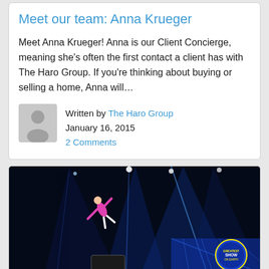Meet our team: Anna Krueger
Meet Anna Krueger! Anna is our Client Concierge, meaning she’s often the first contact a client has with The Haro Group. If you’re thinking about buying or selling a home, Anna will…
Written by The Haro Group
January 16, 2015
2 Comments
[Figure (photo): A circus performer in a pink leotard doing an aerial act under dramatic blue stage lighting, with a 'Greatest Show on Earth' sign visible in the background.]